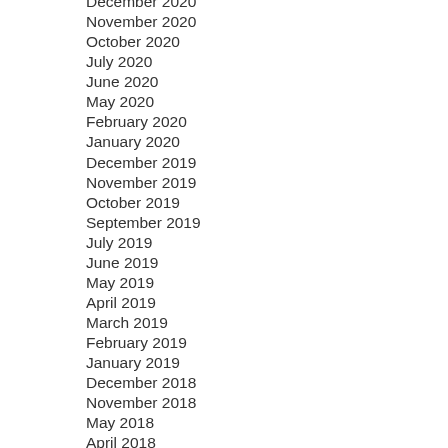December 2020
November 2020
October 2020
July 2020
June 2020
May 2020
February 2020
January 2020
December 2019
November 2019
October 2019
September 2019
July 2019
June 2019
May 2019
April 2019
March 2019
February 2019
January 2019
December 2018
November 2018
May 2018
April 2018
March 2018